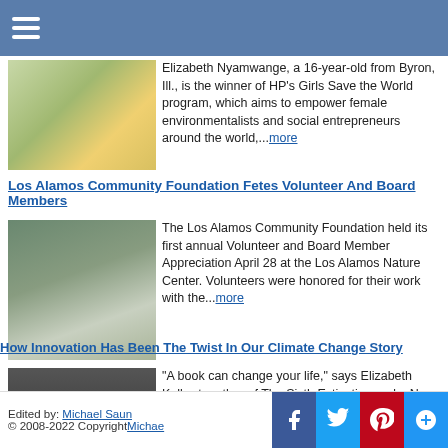Navigation menu
Elizabeth Nyamwange, a 16-year-old from Byron, Ill., is the winner of HP's Girls Save the World program, which aims to empower female environmentalists and social entrepreneurs around the world,...more
Los Alamos Community Foundation Fetes Volunteer And Board Members
The Los Alamos Community Foundation held its first annual Volunteer and Board Member Appreciation April 28 at the Los Alamos Nature Center. Volunteers were honored for their work with the...more
How Innovation Has Been The Twist In Our Climate Change Story
"A book can change your life," says Elizabeth Kolbert, author of The Sixth Extinction and a New Yorker writer. "One might assume she gives a wink and a nod with these words." In fact, Kolbert is...more
Edited by: Michael Saun | © 2008-2022 Copyright Michae